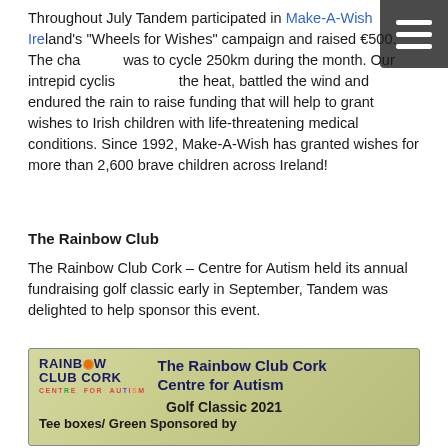Throughout July Tandem participated in Make-A-Wish Ireland's "Wheels for Wishes" campaign and raised €500. The challenge was to cycle 250km during the month. Our intrepid cyclists braved the heat, battled the wind and endured the rain to raise funding that will help to grant wishes to Irish children with life-threatening medical conditions. Since 1992, Make-A-Wish has granted wishes for more than 2,600 brave children across Ireland!
The Rainbow Club
The Rainbow Club Cork – Centre for Autism held its annual fundraising golf classic early in September, Tandem was delighted to help sponsor this event.
[Figure (photo): Rainbow Club Cork – Centre for Autism Golf Classic 2021 event image showing logo, title, and 'Tee boxes/ Green Sponsored by' text over a golf-themed background.]